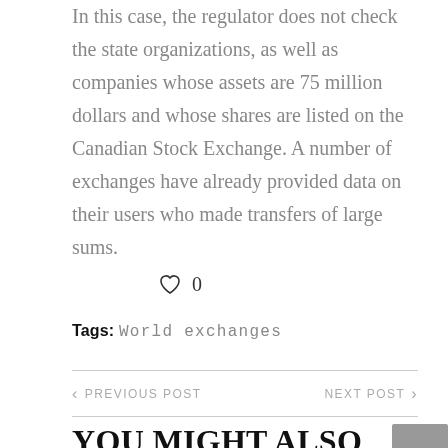In this case, the regulator does not check the state organizations, as well as companies whose assets are 75 million dollars and whose shares are listed on the Canadian Stock Exchange. A number of exchanges have already provided data on their users who made transfers of large sums.
♡ 0
Tags: World exchanges
< PREVIOUS POST    NEXT POST >
YOU MIGHT ALSO LIKE